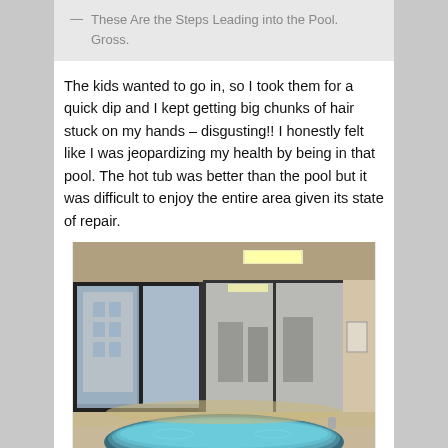— These Are the Steps Leading into the Pool. Gross.
The kids wanted to go in, so I took them for a quick dip and I kept getting big chunks of hair stuck on my hands – disgusting!! I honestly felt like I was jeopardizing my health by being in that pool. The hot tub was better than the pool but it was difficult to enjoy the entire area given its state of repair.
[Figure (photo): Indoor hotel pool/hot tub area with large windows overlooking a building exterior, glass doors leading to a gym/fitness area, and a circular blue hot tub in the foreground.]